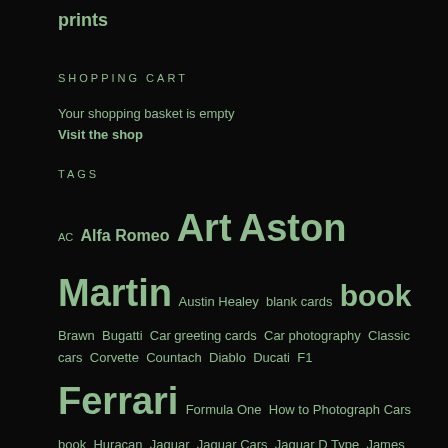prints
SHOPPING CART
Your shopping basket is empty
Visit the shop
TAGS
AC Alfa Romeo Art Aston Martin Austin Healey blank cards book Brawn Bugatti Car greeting cards Car photography Classic cars Corvette Countach Diablo Ducati F1 Ferrari Formula One How to Photograph Cars book Huracan Jaguar Jaguar Cars Jaguar D Type James Mann Jordan Lamborghini Lotus Marcos Maserati Mclaren McLaren F1 Mercedes Meredes MG motorsport Muira Photography Porsche Porsche 917K